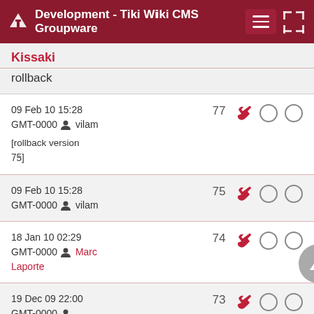Development - Tiki Wiki CMS Groupware
Kissaki
rollback
09 Feb 10 15:28 GMT-0000 vilam [rollback version 75] — version 77
09 Feb 10 15:28 GMT-0000 vilam — version 75
18 Jan 10 02:29 GMT-0000 Marc Laporte — version 74
19 Dec 09 22:00 GMT-0000 — version 73